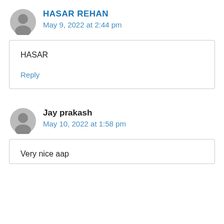HASAR REHAN
May 9, 2022 at 2:44 pm
HASAR
Reply
Jay prakash
May 10, 2022 at 1:58 pm
Very nice aap